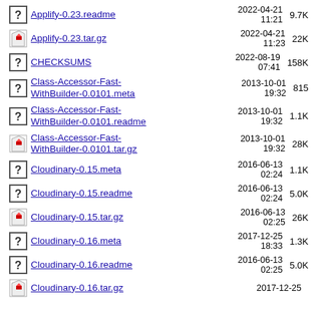Applify-0.23.readme  2022-04-21 11:21  9.7K
Applify-0.23.tar.gz  2022-04-21 11:23  22K
CHECKSUMS  2022-08-19 07:41  158K
Class-Accessor-Fast-WithBuilder-0.0101.meta  2013-10-01 19:32  815
Class-Accessor-Fast-WithBuilder-0.0101.readme  2013-10-01 19:32  1.1K
Class-Accessor-Fast-WithBuilder-0.0101.tar.gz  2013-10-01 19:32  28K
Cloudinary-0.15.meta  2016-06-13 02:24  1.1K
Cloudinary-0.15.readme  2016-06-13 02:24  5.0K
Cloudinary-0.15.tar.gz  2016-06-13 02:25  26K
Cloudinary-0.16.meta  2017-12-25 18:33  1.3K
Cloudinary-0.16.readme  2016-06-13 02:25  5.0K
Cloudinary-0.16.tar.gz  2017-12-25